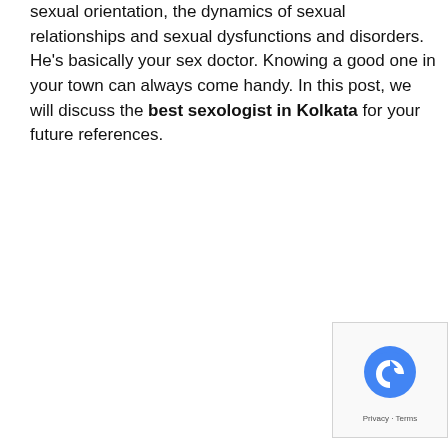sexual orientation, the dynamics of sexual relationships and sexual dysfunctions and disorders. He's basically your sex doctor. Knowing a good one in your town can always come handy. In this post, we will discuss the best sexologist in Kolkata for your future references.
[Figure (other): reCAPTCHA badge with blue logo icon and Privacy - Terms footer text]